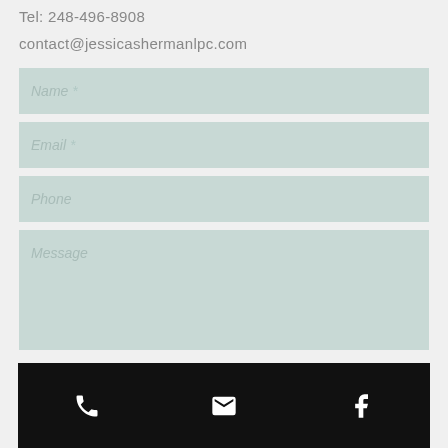Tel: 248-496-8908
contact@jessicashermanlpc.com
[Figure (screenshot): Contact form with fields: Name *, Email *, Phone, Message]
Phone icon, Email icon, Facebook icon navigation bar